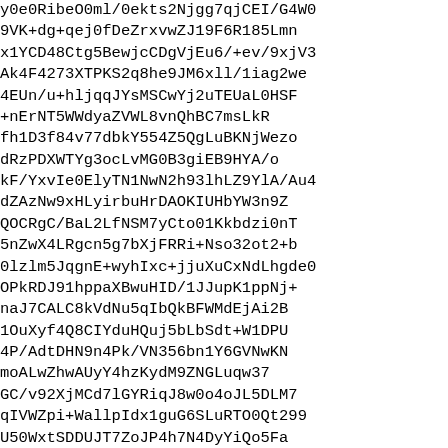y0e0RibeO0ml/0ekts2Njgg7qjCEI/G4W0
9VK+dg+qej0fDeZrxvwZJ19F6R185Lmn
x1YCD48Ctg5BewjcCDgVjEu6/+ev/9xjV3
Ak4F4273XTPKS2q8he9JM6xll/1iag2we
4EUn/u+hljqqJYsMSCwYj2uTEUaL0HSF
+nErNT5WWdyaZVWL8vnQhBC7msLkR
fh1D3f84v77dbkY554Z5QgLuBKNjWezo
dRzPDXWTYg3ocLvMG0B3giEB9HYA/o
kF/YxvIe0ElyTN1NwN2h93lhLZ9YlA/Au4
dZAzNw9xHLyirbuHrDAOKIUHbYW3n9Z
QOCRgC/BaL2LfNSM7yCto01Kkbdzi0nT
5nZwX4LRgcn5g7bXjFRRi+Nso32ot2+b
0lzlm5JqgnE+wyhIxc+jjuXuCxNdLhgde0
OPkRDJ91hppaXBwuHID/1JJupK1ppNj+
naJ7CALC8kVdNu5qIbQkBFWMdEjAi2B
1OuXyf4Q8CIYduHQuj5bLbSdt+W1DPU
4P/AdtDHN9n4Pk/VN356bn1Y6GVNwKN
moALwZhwAUyY4hzKydM9ZNGLuqw37
GC/v92XjMCd7lGYRiqJ8w0o4oJL5DLM7
qIVWZpi+WallpIdx1guG6SLuRTO0Qt299
U50WxtSDDUJT7ZoJP4h7N4DyYiQo5Fa
4Usw7OBN1gw7Rzo+UvuvMd07Wob+/H
yC8OWkIAAj8JpBWMx0C/3UooysbsfZ6B
yUtHCEBgLoHtBKOMV1kzjJbm8WHHRx
zV5IjKkhsCeBxYKxfKl63KFablXuXKS8yk
nSGwIwFHgmH01p4wqo83Gk2lRlNjoVW
MUHzJkzREnPaQgACDQRWCobd2qG7
OuOiGU1FRINjM9bsR5mhjTTw/RPu5b+
QutAl30vc+luRbQ6ErH9MsHwXxgu04xjs
0l+rNPYiGIMVxqW7olOPwlZ/pKrvjOFtuS
0tXucjB1zWjwZRXG2Z9BtTBCcwz7pg36